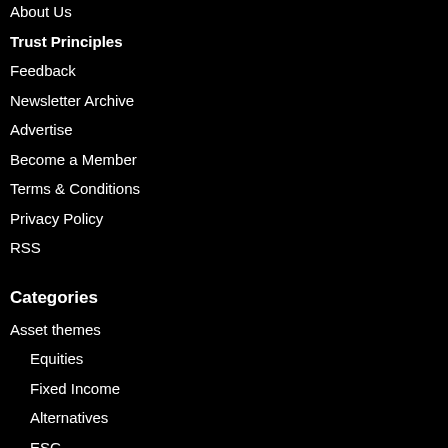About Us
Trust Principles
Feedback
Newsletter Archive
Advertise
Become a Member
Terms & Conditions
Privacy Policy
RSS
Categories
Asset themes
Equities
Fixed Income
Alternatives
ESG
Asset Owners
Sovereign Wealth Funds
Pension Funds